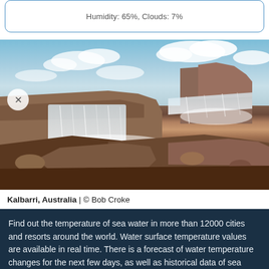Humidity: 65%, Clouds: 7%
[Figure (photo): Coastal waterfall over red sandstone rocks at Kalbarri, Australia, with ocean waves crashing, blue sky with clouds in background]
Kalbarri, Australia | © Bob Croke
Find out the temperature of sea water in more than 12000 cities and resorts around the world. Water surface temperature values are available in real time. There is a forecast of water temperature changes for the next few days, as well as historical data of sea surface temperature are available for all days of the last years.